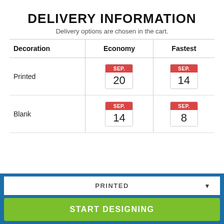DELIVERY INFORMATION
Delivery options are chosen in the cart.
| Decoration | Economy | Fastest |
| --- | --- | --- |
| Printed | SEP. 20 | SEP. 14 |
| Blank | SEP. 14 | SEP. 8 |
PRINTED
START DESIGNING